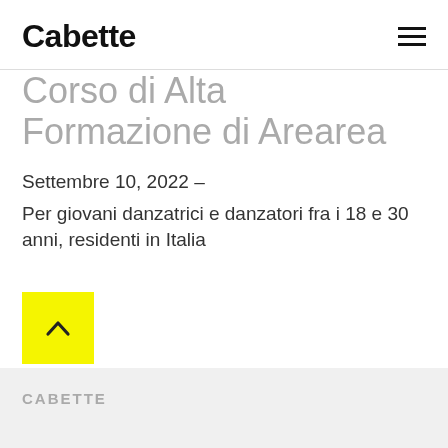Cabette
Corso di Alta Formazione di Arearea
Settembre 10, 2022 –
Per giovani danzatrici e danzatori fra i 18 e 30 anni, residenti in Italia
[Figure (other): Yellow square button with upward chevron arrow (scroll-to-top button)]
CABETTE